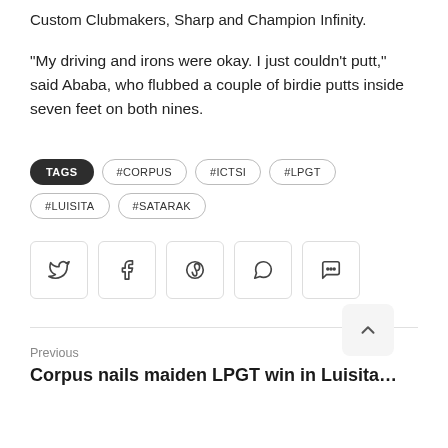Custom Clubmakers, Sharp and Champion Infinity.
“My driving and irons were okay. I just couldn’t putt,” said Ababa, who flubbed a couple of birdie putts inside seven feet on both nines.
TAGS: #CORPUS, #ICTSI, #LPGT, #LUISITA, #SATARAK
[Figure (other): Social share buttons: Twitter, Facebook, Pinterest, WhatsApp, Comments]
Previous
Corpus nails maiden LPGT win in Luisita...